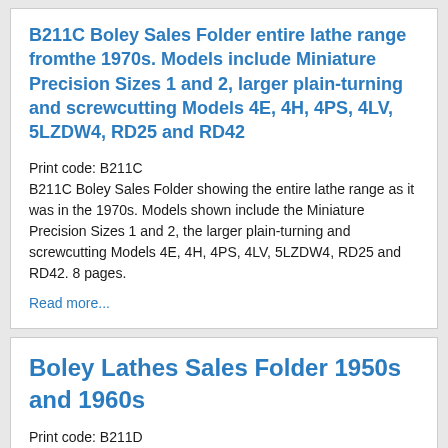B211C Boley Sales Folder entire lathe range fromthe 1970s. Models include Miniature Precision Sizes 1 and 2, larger plain-turning and screwcutting Models 4E, 4H, 4PS, 4LV, 5LZDW4, RD25 and RD42
Print code: B211C
B211C Boley Sales Folder showing the entire lathe range as it was in the 1970s. Models shown include the Miniature Precision Sizes 1 and 2, the larger plain-turning and screwcutting Models 4E, 4H, 4PS, 4LV, 5LZDW4, RD25 and RD42. 8 pages.
Read more...
Boley Lathes Sales Folder 1950s and 1960s
Print code: B211D